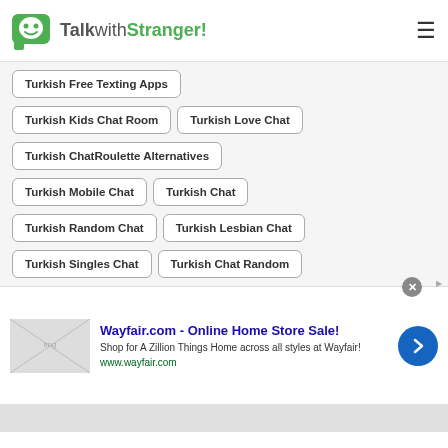TalkwithStranger!
Turkish Free Texting Apps
Turkish Kids Chat Room
Turkish Love Chat
Turkish ChatRoulette Alternatives
Turkish Mobile Chat
Turkish Chat
Turkish Random Chat
Turkish Lesbian Chat
Turkish Singles Chat
Turkish Chat Random
Turkish Chit Chat with Strangers
Turkish Chat With Girls
[Figure (screenshot): Wayfair.com advertisement banner: 'Wayfair.com - Online Home Store Sale! Shop for A Zillion Things Home across all styles at Wayfair! www.wayfair.com']